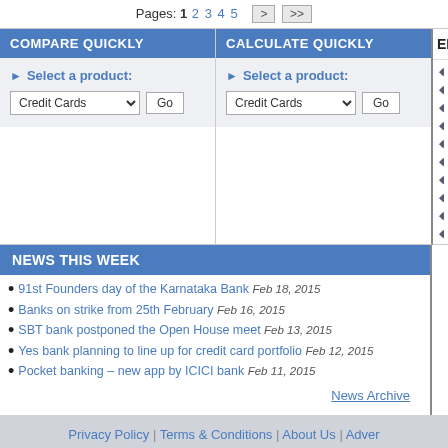Pages: 1 2 3 4 5 > >>
COMPARE QUICKLY
Select a product: Credit Cards Go
CALCULATE QUICKLY
Select a product: Credit Cards Go
EDITOR
Now
Han
Inte
Car
Pre
HDF
Is th
5 st
Kin
Con
NEWS THIS WEEK
91st Founders day of the Karnataka Bank Feb 18, 2015
Banks on strike from 25th February Feb 16, 2015
SBT bank postponed the Open House meet Feb 13, 2015
Yes bank planning to line up for credit card portfolio Feb 12, 2015
Pocket banking – new app by ICICI bank Feb 11, 2015
News Archive
Privacy Policy | Terms & Conditions | About Us | Adver
© 2010. All Rights Reserved. | Follow @Ru